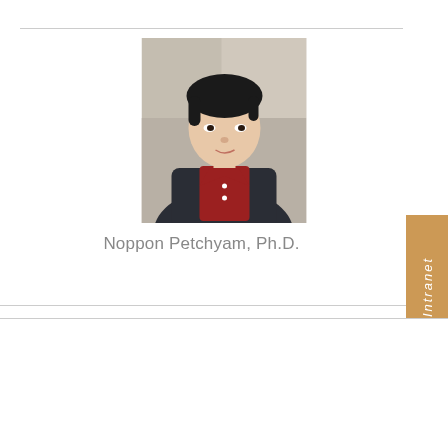[Figure (photo): Portrait photo of Noppon Petchyam, Ph.D. — a man in a dark blazer and red polo shirt, with short dark hair, photographed against a neutral indoor background.]
Noppon Petchyam, Ph.D.
Our website uses cookies to provide you with a better online experience.
Please select “Accept” or “Cookie settings” to set your cookie preferences.
Accept
Cookie settings